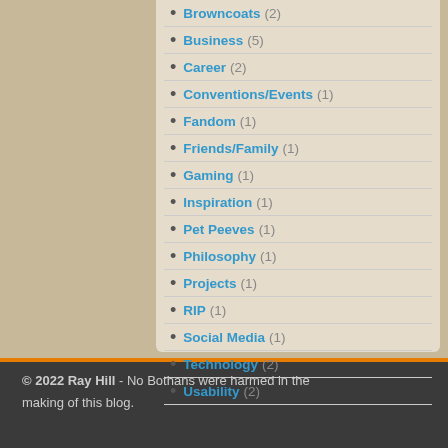Browncoats (2)
Business (5)
Career (2)
Conventions/Events (1)
Fandom (1)
Friends/Family (1)
Gaming (1)
Inspiration (1)
Pet Peeves (1)
Philosophy (1)
Projects (1)
RIP (1)
Social Media (1)
Technology (2)
Usability (2)
© 2022 Ray Hill - No Bothans were harmed in the making of this blog.